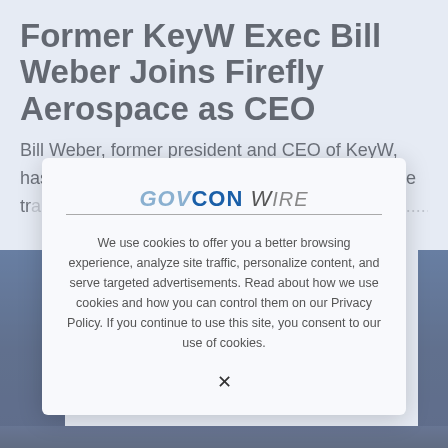Former KeyW Exec Bill Weber Joins Firefly Aerospace as CEO
Bill Weber, former president and CEO of KeyW, has assumed the CEO role at Texas-based space tr…
[Figure (logo): GovConWire logo with stylized text]
We use cookies to offer you a better browsing experience, analyze site traffic, personalize content, and serve targeted advertisements. Read about how we use cookies and how you can control them on our Privacy Policy. If you continue to use this site, you consent to our use of cookies.
X